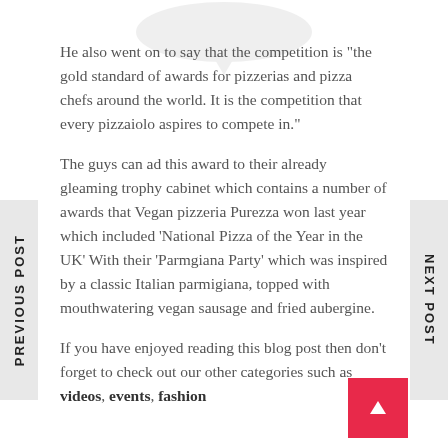[Figure (illustration): Light gray decorative speech bubble shape at the top center of the page]
He also went on to say that the competition is "the gold standard of awards for pizzerias and pizza chefs around the world. It is the competition that every pizzaiolo aspires to compete in."
The guys can ad this award to their already gleaming trophy cabinet which contains a number of awards that Vegan pizzeria Purezza won last year which included 'National Pizza of the Year in the UK' With their 'Parmgiana Party' which was inspired by a classic Italian parmigiana, topped with mouthwatering vegan sausage and fried aubergine.
If you have enjoyed reading this blog post then don't forget to check out our other categories such as videos, events, fashion
PREVIOUS POST
NEXT POST